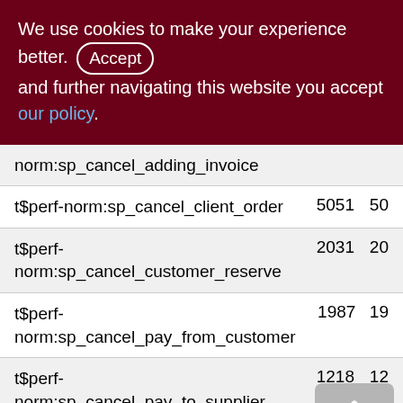We use cookies to make your experience better. By accepting and further navigating this website you accept our policy.
| Name | Val1 | Val2 |
| --- | --- | --- |
| norm:sp_cancel_adding_invoice |  |  |
| t$perf-norm:sp_cancel_client_order | 5051 | 50 |
| t$perf-norm:sp_cancel_customer_reserve | 2031 | 20 |
| t$perf-norm:sp_cancel_pay_from_customer | 1987 | 19 |
| t$perf-norm:sp_cancel_pay_to_supplier | 1218 | 12 |
| t$perf-norm:sp_cancel_supplier_invoice | 776 | 7 |